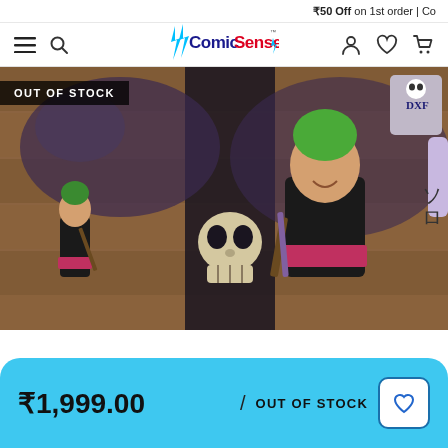₹50 Off on 1st order | Co
[Figure (logo): ComicSense logo with stylized text and lightning bolt accents]
[Figure (photo): One Piece Zoro DXF figure product image showing action figure in box with skull and swords imagery. 'OUT OF STOCK' badge overlay.]
₹1,999.00
OUT OF STOCK